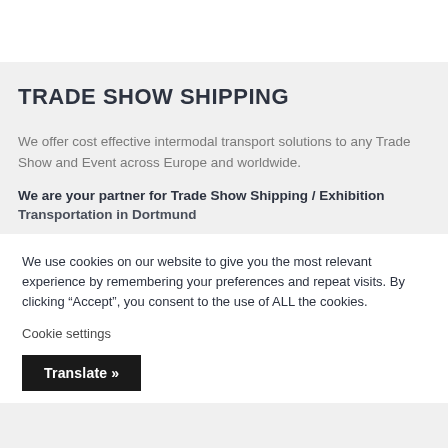TRADE SHOW SHIPPING
We offer cost effective intermodal transport solutions to any Trade Show and Event across Europe and worldwide.
We are your partner for Trade Show Shipping / Exhibition
Transportation in Dortmund
We use cookies on our website to give you the most relevant experience by remembering your preferences and repeat visits. By clicking “Accept”, you consent to the use of ALL the cookies.
Cookie settings
Translate »